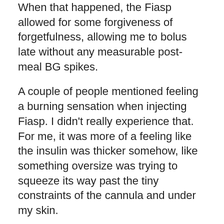When that happened, the Fiasp allowed for some forgiveness of forgetfulness, allowing me to bolus late without any measurable post-meal BG spikes.
A couple of people mentioned feeling a burning sensation when injecting Fiasp. I didn't really experience that. For me, it was more of a feeling like the insulin was thicker somehow, like something oversize was trying to squeeze its way past the tiny constraints of the cannula and under my skin.
Both times I changed out infusion sites while using Fiasp, I found blood about a foot up inside the tubing of my set. I don't know if this phenomenon had anything to do with it, but blood in the tubing is a very rare occurrence for me.
It should also be noted that I'm using the now defunct Animas Vibe pump, which dispenses insulin at a rapid